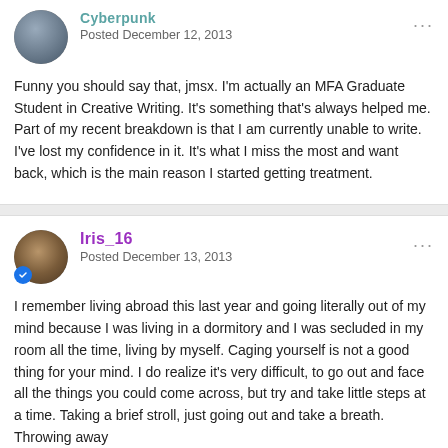Cyberpunk
Posted December 12, 2013
Funny you should say that, jmsx. I'm actually an MFA Graduate Student in Creative Writing. It's something that's always helped me. Part of my recent breakdown is that I am currently unable to write. I've lost my confidence in it. It's what I miss the most and want back, which is the main reason I started getting treatment.
Iris_16
Posted December 13, 2013
I remember living abroad this last year and going literally out of my mind because I was living in a dormitory and I was secluded in my room all the time, living by myself. Caging yourself is not a good thing for your mind. I do realize it's very difficult, to go out and face all the things you could come across, but try and take little steps at a time. Taking a brief stroll, just going out and take a breath. Throwing away